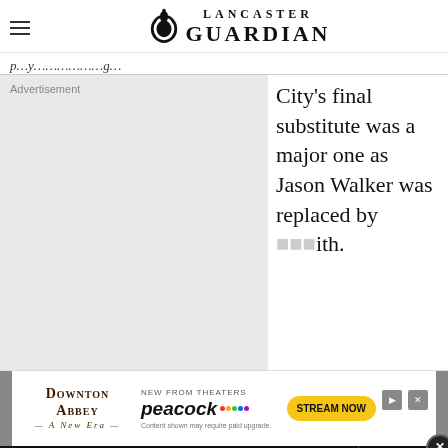Lancaster Guardian
p...y...g...
[Figure (other): Advertisement placeholder box with 'Advertisement' label]
City's final substitute was a major one as Jason Walker was replaced by ...ith.
[Figure (other): Downton Abbey - A New Era advertisement banner with Peacock streaming service, Stream Now button]
Get 70% fewer ads. Start your 2-month trial for just £2 per month
Subscribe Today